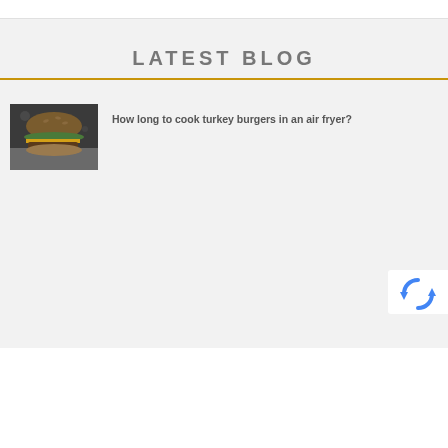LATEST BLOG
[Figure (photo): Photo of a turkey burger on a dark background]
How long to cook turkey burgers in an air fryer?